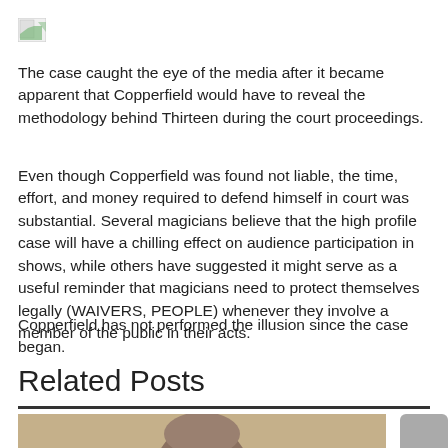[Figure (other): Broken/missing image icon (small placeholder with page/leaf icon)]
The case caught the eye of the media after it became apparent that Copperfield would have to reveal the methodology behind Thirteen during the court proceedings.
Even though Copperfield was found not liable, the time, effort, and money required to defend himself in court was substantial. Several magicians believe that the high profile case will have a chilling effect on audience participation in shows, while others have suggested it might serve as a useful reminder that magicians need to protect themselves legally (WAIVERS, PEOPLE) whenever they involve a member of the public in their acts.
Copperfield has not performed the illusion since the case began.
Related Posts
[Figure (photo): Partial photo of a person's head/back of head, below the Related Posts section]